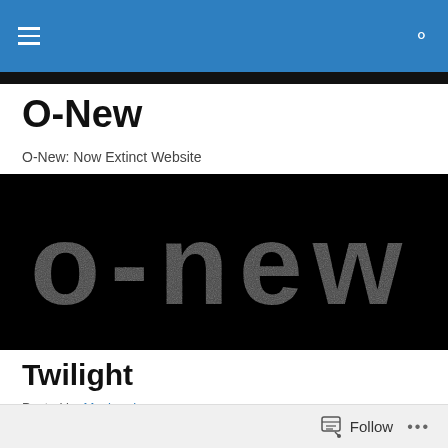O-New (navigation bar with menu and search icons)
O-New
O-New: Now Extinct Website
[Figure (illustration): Black background banner image with the text 'o-new' written in a speckled/dotted white texture style, resembling a particle or starfield effect.]
Twilight
Posted by Mushyrulez
Alternative title: America is boring as hell.
Follow ...